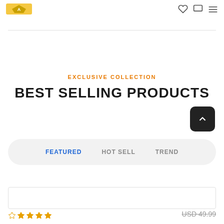Logo / navigation header with wishlist, cart, and menu icons
EXCLUSIVE COLLECTION
BEST SELLING PRODUCTS
FEATURED   HOT SELL   TREND
USD 49.99